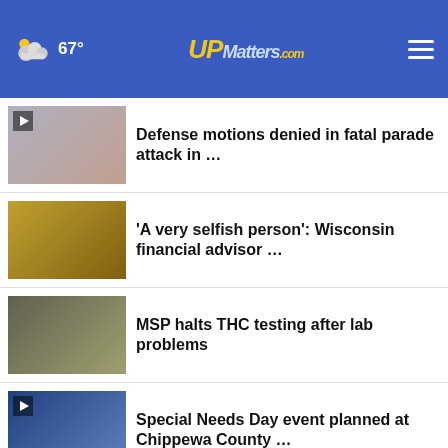67° UPMatters.com
Defense motions denied in fatal parade attack in …
'A very selfish person': Wisconsin financial advisor …
MSP halts THC testing after lab problems
Special Needs Day event planned at Chippewa County …
More Stories ▶
WIMN - UPMatters.com Video